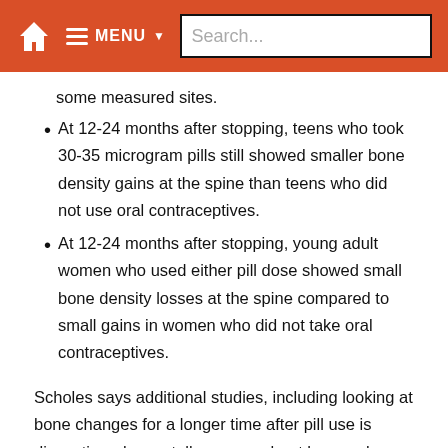MENU Search...
some measured sites.
At 12-24 months after stopping, teens who took 30-35 microgram pills still showed smaller bone density gains at the spine than teens who did not use oral contraceptives.
At 12-24 months after stopping, young adult women who used either pill dose showed small bone density losses at the spine compared to small gains in women who did not take oral contraceptives.
Scholes says additional studies, including looking at bone changes for a longer time after pill use is discontinued, may tell us more about how oral contraceptive use is related to fracture risk. For now, the results of Scholes' study may help women make informed decisions. "Bone health, especially for long-term users of the pill,